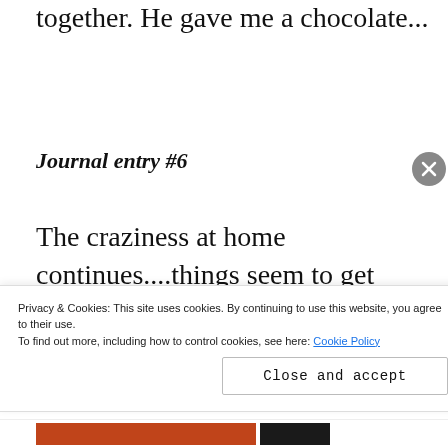together. He gave me a chocolate...
Journal entry #6
The craziness at home continues....things seem to get finalized one moment...and new
Privacy & Cookies: This site uses cookies. By continuing to use this website, you agree to their use.
To find out more, including how to control cookies, see here: Cookie Policy
Close and accept